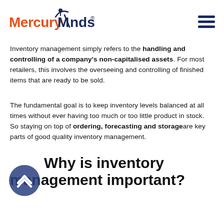MercuryMinds®
Inventory management simply refers to the handling and controlling of a company's non-capitalised assets. For most retailers, this involves the overseeing and controlling of finished items that are ready to be sold.
The fundamental goal is to keep inventory levels balanced at all times without ever having too much or too little product in stock. So staying on top of ordering, forecasting and storage are key parts of good quality inventory management.
Why is inventory management important?